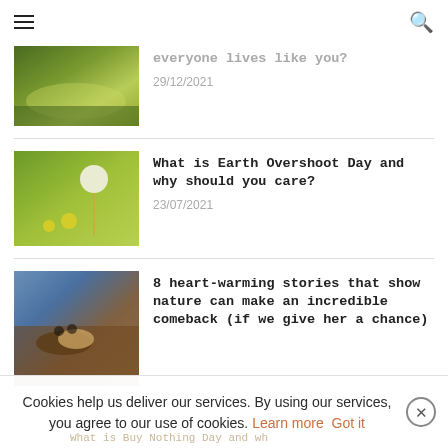Navigation header with hamburger menu and search icon
[Figure (photo): Sunlit grass field viewed from low angle]
everyone lives like you?
29/12/2021
[Figure (photo): Dandelion in a green field with yellow flowers]
What is Earth Overshoot Day and why should you care?
23/07/2021
[Figure (photo): Leopard resting in a tree with blue sky background]
8 heart-warming stories that show nature can make an incredible comeback (if we give her a chance)
Cookies help us deliver our services. By using our services, you agree to our use of cookies. Learn more  Got it